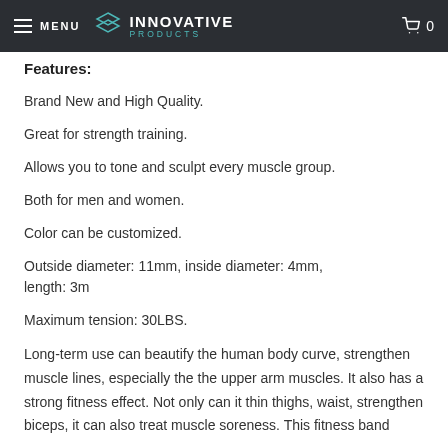MENU | INNOVATIVE PRODUCTS | 0
Features:
Brand New and High Quality.
Great for strength training.
Allows you to tone and sculpt every muscle group.
Both for men and women.
Color can be customized.
Outside diameter: 11mm, inside diameter: 4mm, length: 3m
Maximum tension: 30LBS.
Long-term use can beautify the human body curve, strengthen muscle lines, especially the the upper arm muscles. It also has a strong fitness effect. Not only can it thin thighs, waist, strengthen biceps, it can also treat muscle soreness. This fitness band